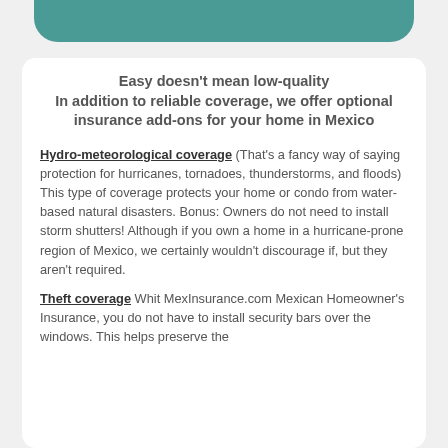Easy doesn't mean low-quality
In addition to reliable coverage, we offer optional insurance add-ons for your home in Mexico
Hydro-meteorological coverage (That's a fancy way of saying protection for hurricanes, tornadoes, thunderstorms, and floods) This type of coverage protects your home or condo from water-based natural disasters. Bonus: Owners do not need to install storm shutters! Although if you own a home in a hurricane-prone region of Mexico, we certainly wouldn't discourage if, but they aren't required.
Theft coverage Whit MexInsurance.com Mexican Homeowner's Insurance, you do not have to install security bars over the windows. This helps preserve the